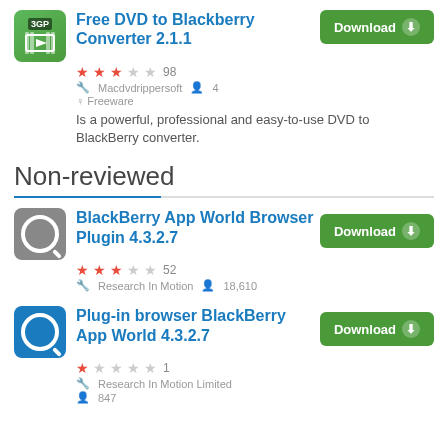Free DVD to Blackberry Converter 2.1.1
★★★☆☆ 98 | Macdvdrippersoft | 4 | Freeware
Is a powerful, professional and easy-to-use DVD to BlackBerry converter.
Non-reviewed
BlackBerry App World Browser Plugin 4.3.2.7
★★★☆☆ 52 | Research In Motion | 18,610
Plug-in browser BlackBerry App World 4.3.2.7
★☆☆☆☆ 1 | Research In Motion Limited | 847